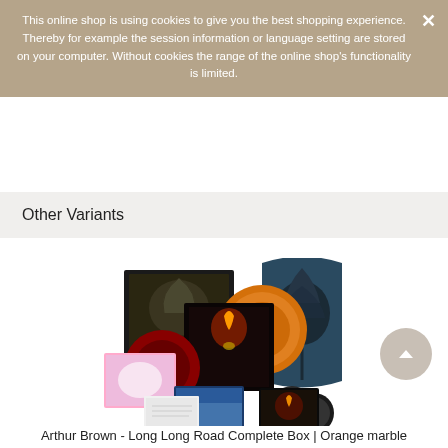This online shop is using cookies to give you the best shopping experience. Thereby for example the session information or language setting are stored on your computer. Without cookies the range of the online shop's functionality is limited.
Other Variants
[Figure (photo): Product photo of Arthur Brown - Long Long Road Complete Box set with orange marble vinyl, including box, records, booklets, art print, pillow, and CDs spread out]
Arthur Brown - Long Long Road Complete Box | Orange marble